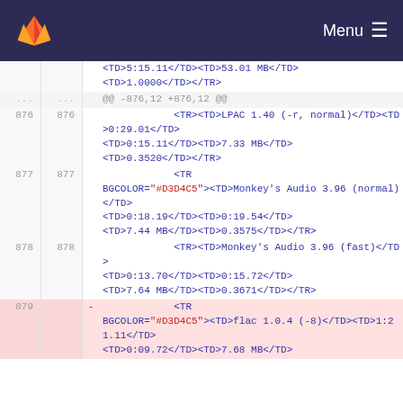GitLab — Menu
<TD>5:15.11</TD><TD>53.01 MB</TD>
<TD>1.0000</TD></TR>
... ... @@ -876,12 +876,12 @@
876 876 <TR><TD>LPAC 1.40 (-r, normal)</TD><TD>0:29.01</TD><TD>0:15.11</TD><TD>7.33 MB</TD><TD>0.3520</TD></TR>
877 877 <TR BGCOLOR="#D3D4C5"><TD>Monkey's Audio 3.96 (normal)</TD><TD>0:18.19</TD><TD>0:19.54</TD><TD>7.44 MB</TD><TD>0.3575</TD></TR>
878 878 <TR><TD>Monkey's Audio 3.96 (fast)</TD><TD>0:13.70</TD><TD>0:15.72</TD><TD>7.64 MB</TD><TD>0.3671</TD></TR>
879 - <TR BGCOLOR="#D3D4C5"><TD>flac 1.0.4 (-8)</TD><TD>1:21.11</TD><TD>0:09.72</TD><TD>7.68 MB</TD>